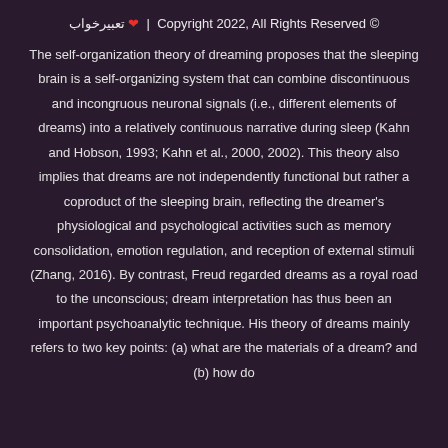تعبیرخواب ❤ | Copyright 2022, All Rights Reserved ©
The self-organization theory of dreaming proposes that the sleeping brain is a self-organizing system that can combine discontinuous and incongruous neuronal signals (i.e., different elements of dreams) into a relatively continuous narrative during sleep (Kahn and Hobson, 1993; Kahn et al., 2000, 2002). This theory also implies that dreams are not independently functional but rather a coproduct of the sleeping brain, reflecting the dreamer's physiological and psychological activities such as memory consolidation, emotion regulation, and reception of external stimuli (Zhang, 2016). By contrast, Freud regarded dreams as a royal road to the unconscious; dream interpretation has thus been an important psychoanalytic technique. His theory of dreams mainly refers to two key points: (a) what are the materials of a dream? and (b) how do